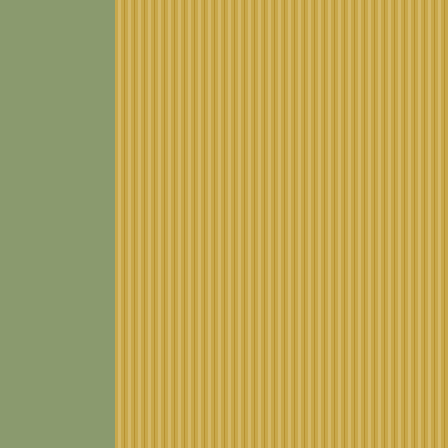| Organization | Number |
| --- | --- |
| 10. Albanian Orthodox Diocese in America | 2 |
| 11. Patriarchal parishes of Russian Orthodox Church | 3 |
| 12. Russian Orthodox Church Outside of Russia | 12 |
| 13. Parishes of Macedonian Orthodox Church in USA | 1 |
| 14. Holy Orthodox Church in North America | 2 |
| 15. Greek Orthodox Archdiocese of Vasiloupolis | 3 |
| 16. Holy Apostolic Catholic Assyrian Church of the East | 1 |